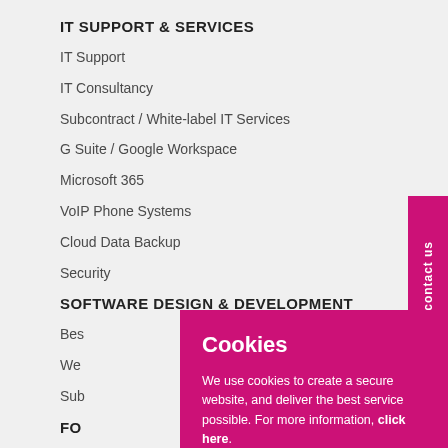IT SUPPORT & SERVICES
IT Support
IT Consultancy
Subcontract / White-label IT Services
G Suite / Google Workspace
Microsoft 365
VoIP Phone Systems
Cloud Data Backup
Security
SOFTWARE DESIGN & DEVELOPMENT
Bes…
We…
Sub…
FO…
Twi…
Link…
Facebook…
Cookies
We use cookies to create a secure website, and deliver the best service possible. For more information, click here.
close